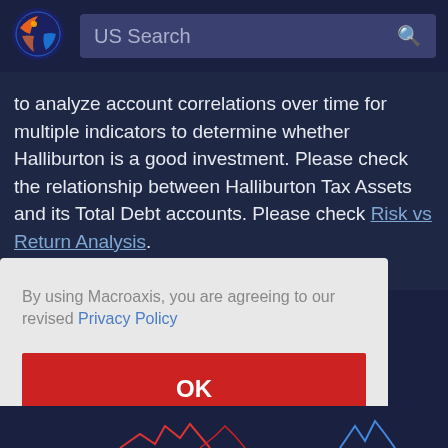[Figure (logo): Macroaxis logo - colorful circular globe icon]
US Search
to analyze account correlations over time for multiple indicators to determine whether Halliburton is a good investment. Please check the relationship between Halliburton Tax Assets and its Total Debt accounts. Please check Risk vs Return Analysis.
By using Macroaxis, you are agreeing to our revised Privacy Policy
OK